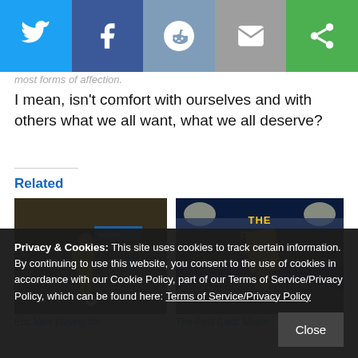[Figure (other): Social share bar with Twitter, Facebook, Reddit, Email, and one more share button icons]
most forms of affection.
I mean, isn't comfort with ourselves and with others what we all want, what we all deserve?
Related
[Figure (photo): Soccer player in yellow uniform running on field]
[Figure (photo): The Post Card Midseason graphic with hand holding yellow card in stadium]
Privacy & Cookies: This site uses cookies to track certain information. By continuing to use this website, you consent to the use of cookies in accordance with our Cookie Policy, part of our Terms of Service/Privacy Policy, which can be found here: Terms of Service/Privacy Policy
Close